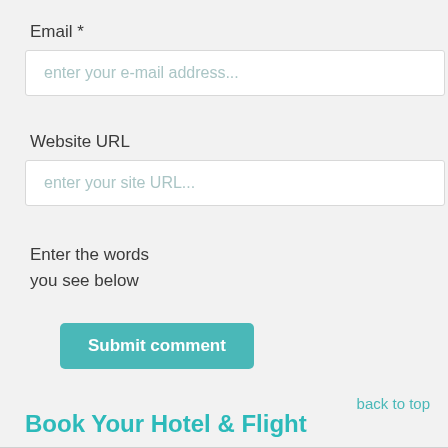Email *
[Figure (screenshot): Text input field with placeholder text 'enter your e-mail address...']
Website URL
[Figure (screenshot): Text input field with placeholder text 'enter your site URL...']
Enter the words
you see below
[Figure (screenshot): Teal 'Submit comment' button]
back to top
Book Your Hotel & Flight